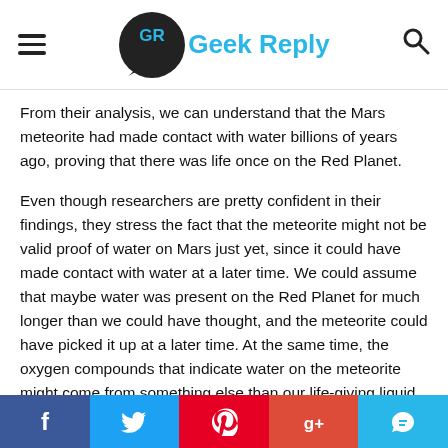Geek Reply
From their analysis, we can understand that the Mars meteorite had made contact with water billions of years ago, proving that there was life once on the Red Planet.
Even though researchers are pretty confident in their findings, they stress the fact that the meteorite might not be valid proof of water on Mars just yet, since it could have made contact with water at a later time. We could assume that maybe water was present on the Red Planet for much longer than we could have thought, and the meteorite could have picked it up at a later time. At the same time, the oxygen compounds that indicate water on the meteorite might come from something else than our life-giving liquid. The new discoveries can not be held as proof of life on Mars in strict logic, with further
Social share bar: Facebook, Twitter, Pinterest, Google+, Comments